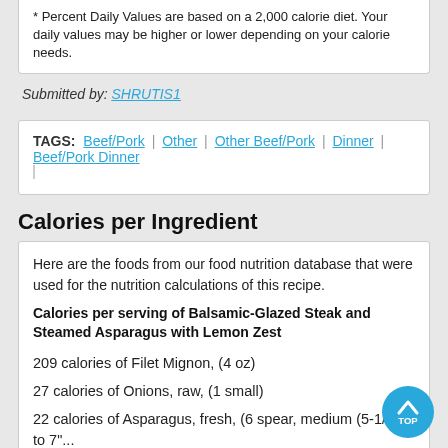Percent Daily Values are based on a 2,000 calorie diet. Your daily values may be higher or lower depending on your calorie needs.
Submitted by: SHRUTIS1
TAGS: Beef/Pork | Other | Other Beef/Pork | Dinner | Beef/Pork Dinner
Calories per Ingredient
Here are the foods from our food nutrition database that were used for the nutrition calculations of this recipe.
Calories per serving of Balsamic-Glazed Steak and Steamed Asparagus with Lemon Zest
209 calories of Filet Mignon, (4 oz)
27 calories of Onions, raw, (1 small)
22 calories of Asparagus, fresh, (6 spear, medium (5-1/4" to 7"...